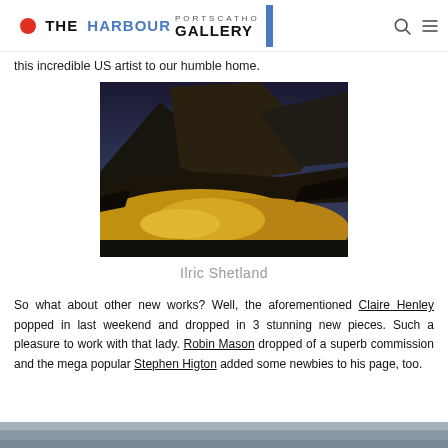THE HARBOUR GALLERY PORTSCATHO
this incredible US artist to our humble home.
[Figure (photo): Landscape painting of dramatic mountains with golden moorland in foreground — titled 'Ilric Shetland']
Ilric Shetland
So what about other new works? Well, the aforementioned Claire Henley popped in last weekend and dropped in 3 stunning new pieces. Such a pleasure to work with that lady. Robin Mason dropped of a superb commission and the mega popular Stephen Higton added some newbies to his page, too.
[Figure (photo): Partial image at bottom of page — grey toned photograph, partially visible]